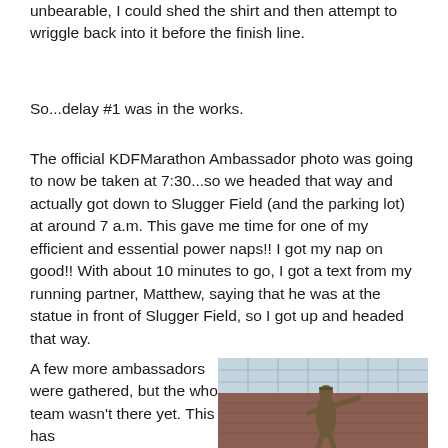unbearable, I could shed the shirt and then attempt to wriggle back into it before the finish line.
So...delay #1 was in the works.
The official KDFMarathon Ambassador photo was going to now be taken at 7:30...so we headed that way and actually got down to Slugger Field (and the parking lot) at around 7 a.m. This gave me time for one of my efficient and essential power naps!! I got my nap on good!! With about 10 minutes to go, I got a text from my running partner, Matthew, saying that he was at the statue in front of Slugger Field, so I got up and headed that way.
A few more ambassadors were gathered, but the whole team wasn't there yet. This has
[Figure (photo): Photo of a statue in front of Slugger Field, with a brick building and glass facade visible in the background. The statue appears to be a baseball player in a pitching or batting pose.]